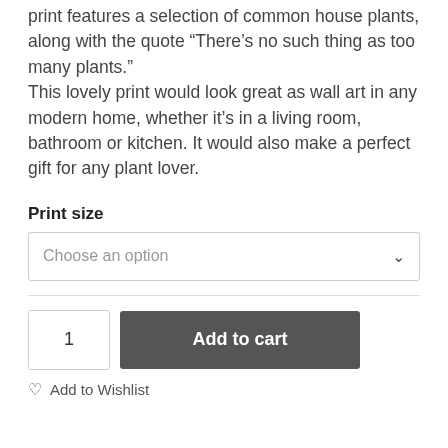print features a selection of common house plants, along with the quote “There’s no such thing as too many plants.” This lovely print would look great as wall art in any modern home, whether it’s in a living room, bathroom or kitchen. It would also make a perfect gift for any plant lover.
Print size
Choose an option
1
Add to cart
Add to Wishlist